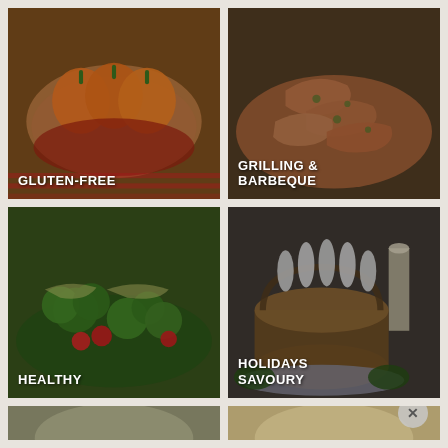[Figure (photo): Gluten-free food category tile showing stuffed orange bell peppers in a baking dish with red sauce, labeled GLUTEN-FREE]
[Figure (photo): Grilling and barbeque food category tile showing seasoned grilled shrimp on a plate, labeled GRILLING & BARBEQUE]
[Figure (photo): Healthy food category tile showing a fresh broccoli salad with tomatoes and vegetables on a green plate, labeled HEALTHY]
[Figure (photo): Holidays savoury food category tile showing an elegant crown roast with decorative white paper frills on a silver platter with greenery, labeled HOLIDAYS SAVOURY]
[Figure (photo): Partial bottom-left food category tile, content partially visible]
[Figure (photo): Partial bottom-right food category tile, content partially visible]